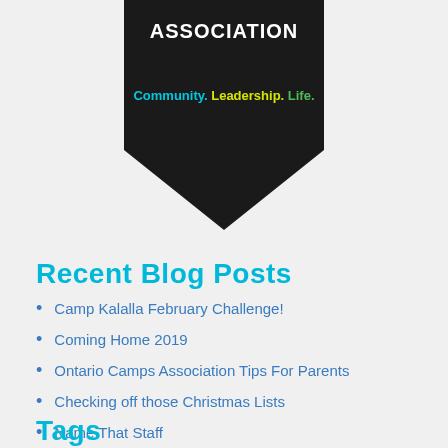[Figure (logo): Pentagonal dark shield/badge logo with text 'ASSOCIATION' in white bold and tagline 'Community. Leadership. Life.' in colored text (blue, yellow-green, green)]
Recent Blog Posts
Camp Kalalla February Challenge!
Coming Home 2019
Ontario Camps Association Tips For Parents
Checking off those Christmas Lists
Name That Staff
Tags